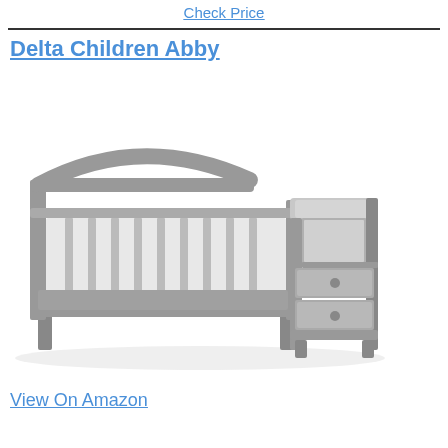Check Price
Delta Children Abby
[Figure (photo): Gray Delta Children Abby crib and changer combo — a full-size wooden baby crib with vertical slats and an arched headboard, attached to a changing table unit with a padded top, open shelf, and two drawers, all in gray finish.]
View On Amazon